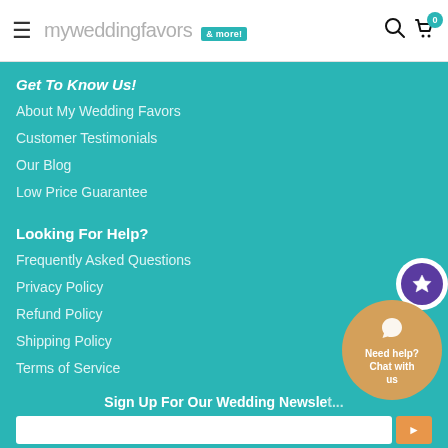myweddingfavors & more!
Get To Know Us!
About My Wedding Favors
Customer Testimonials
Our Blog
Low Price Guarantee
Looking For Help?
Frequently Asked Questions
Privacy Policy
Refund Policy
Shipping Policy
Terms of Service
Sign Up For Our Wedding Newsletter
[Figure (other): WhatsApp chat help bubble: circular tan/gold button with WhatsApp icon and text 'Need help? Chat with us']
[Figure (other): Purple circular star/rating badge]